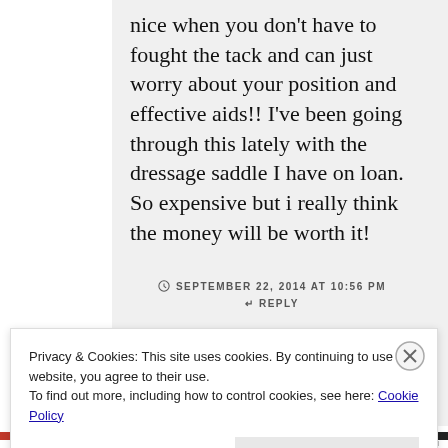nice when you don't have to fought the tack and can just worry about your position and effective aids!! I've been going through this lately with the dressage saddle I have on loan. So expensive but i really think the money will be worth it!
SEPTEMBER 22, 2014 AT 10:56 PM
↵ REPLY
Privacy & Cookies: This site uses cookies. By continuing to use this website, you agree to their use.
To find out more, including how to control cookies, see here: Cookie Policy
Close and accept